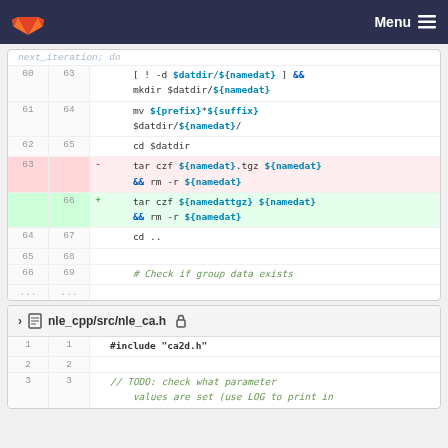GitLab Menu
[Figure (screenshot): Code diff view showing shell script changes with line numbers. Deleted line: tar czf ${namedat}.tgz ${namedat} && rm -r ${namedat}. Inserted line: tar czf ${namedattgz} ${namedat} && rm -r ${namedat}.]
nle_cpp/src/nle_ca.h
[Figure (screenshot): File diff showing nle_ca.h with #include "ca2d.h" and TODO comment about checking parameter values using LOG to print in]